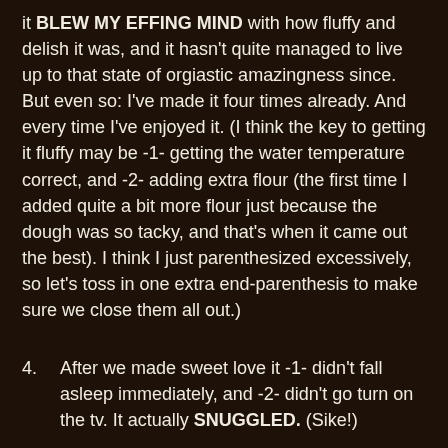it BLEW MY EFFING MIND with how fluffy and delish it was, and it hasn't quite managed to live up to that state of orgiastic amazingness since. But even so: I've made it four times already. And every time I've enjoyed it. (I think the key to getting it fluffy may be -1- getting the water temperature correct, and -2- adding extra flour (the first time I added quite a bit more flour just because the dough was so tacky, and that's when it came out the best). I think I just parenthesized excessively, so let's toss in one extra end-parenthesis to make sure we close them all out.)
4. After we made sweet love it -1- didn't fall asleep immediately, and -2- didn't go turn on the tv. It actually SNUGGLED. (Sike!)
As for variations on toppings: my standard go-to toppings are either pizza sauce or pesto sauce plus chopped kalamata olives and lightly-cooked sliced mushrooms and